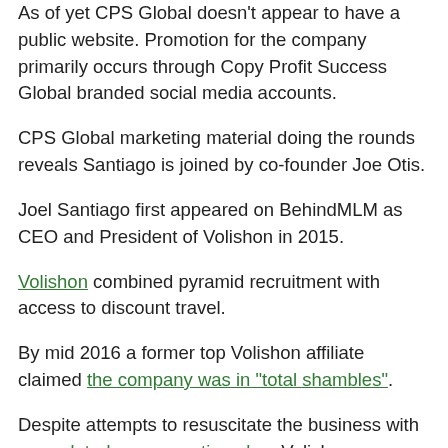As of yet CPS Global doesn't appear to have a public website. Promotion for the company primarily occurs through Copy Profit Success Global branded social media accounts.
CPS Global marketing material doing the rounds reveals Santiago is joined by co-founder Joe Otis.
Joel Santiago first appeared on BehindMLM as CEO and President of Volishon in 2015.
Volishon combined pyramid recruitment with access to discount travel.
By mid 2016 a former top Volishon affiliate claimed the company was in “total shambles”.
Despite attempts to resuscitate the business with an updated compensation plan, Volishon nonetheless went on to collapse.
Normally I’d leave it there – but such is the caliber of MLM